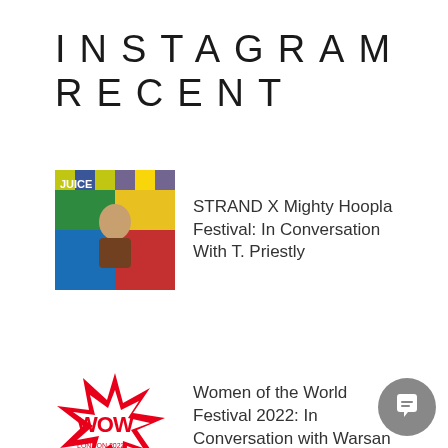INSTAGRAM RECENT
STRAND X Mighty Hoopla Festival: In Conversation With T. Priestly
Women of the World Festival 2022: In Conversation with Warsan Shire
Palace Attract 'Shoals' Of Fans To O2 Academy Bri...